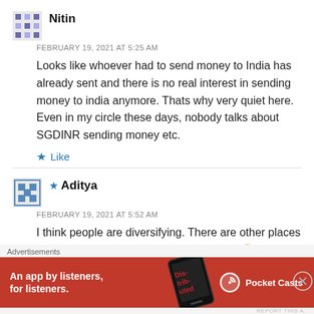Nitin
FEBRUARY 19, 2021 AT 5:25 AM
Looks like whoever had to send money to India has already sent and there is no real interest in sending money to india anymore. Thats why very quiet here. Even in my circle these days, nobody talks about SGDINR sending money etc.
Like
Aditya
FEBRUARY 19, 2021 AT 5:52 AM
I think people are diversifying. There are other places which could give similar or better returns 🙂
Advertisements
[Figure (other): Pocket Casts advertisement banner: red background with text 'An app by listeners, for listeners.' and Pocket Casts logo, phone graphic showing 'Distributed' text]